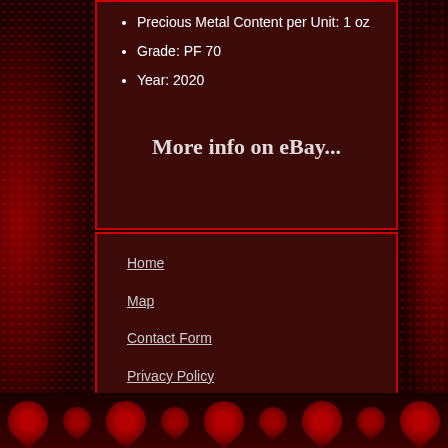Precious Metal Content per Unit: 1 oz
Grade: PF 70
Year: 2020
More info on eBay...
Home
Map
Contact Form
Privacy Policy
Terms of service